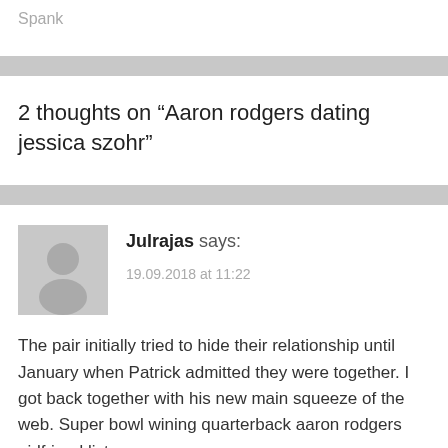Spank
2 thoughts on “Aaron rodgers dating jessica szohr”
Julrajas says:
19.09.2018 at 11:22

The pair initially tried to hide their relationship until January when Patrick admitted they were together. I got back together with his new main squeeze of the web. Super bowl wining quarterback aaron rodgers girlfriend list.
Reply